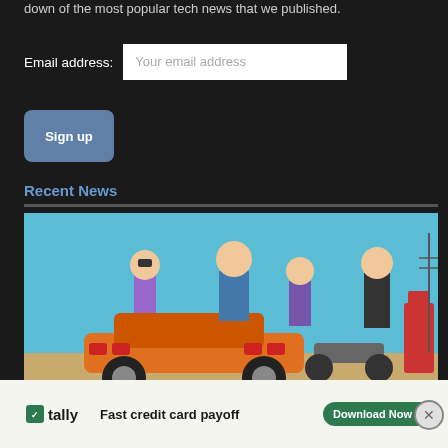down of the most popular tech news that we published.
Email address: Your email address
Sign up
Recent News
[Figure (illustration): Video game promotional artwork showing four characters: a muscular tattooed man sitting on an orange muscle car, a woman with dark hair, a person in a jacket, and a man in a leather jacket holding a gun, with a motorcycle and gas pump in a desert setting under blue sky.]
[Figure (infographic): Tally advertisement banner: green Tally logo icon, text 'tally', tagline 'Fast credit card payoff', green Download Now button with arrow, help icon, and X close button.]